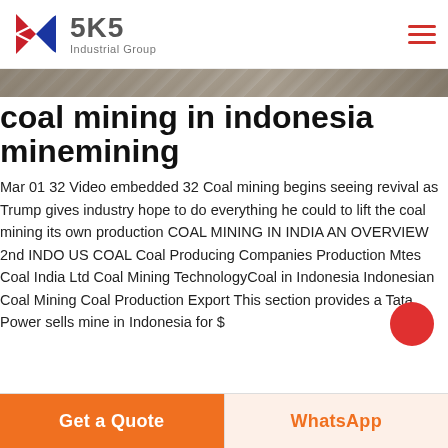[Figure (logo): SKS Industrial Group logo with red and blue K symbol and SKS text]
[Figure (photo): Partial hero image showing what appears to be a coal mining related surface, cropped strip]
coal mining in indonesia minemining
Mar 01 32 Video embedded 32 Coal mining begins seeing revival as Trump gives industry hope to do everything he could to lift the coal mining its own production COAL MINING IN INDIA AN OVERVIEW 2nd INDO US COAL Coal Producing Companies Production Mtes Coal India Ltd Coal Mining TechnologyCoal in Indonesia Indonesian Coal Mining Coal Production Export This section provides a Tata Power sells mine in Indonesia for $